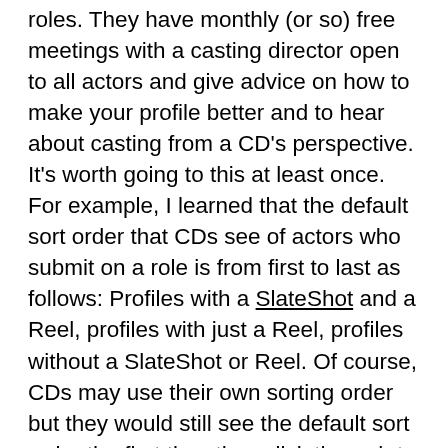roles. They have monthly (or so) free meetings with a casting director open to all actors and give advice on how to make your profile better and to hear about casting from a CD's perspective. It's worth going to this at least once. For example, I learned that the default sort order that CDs see of actors who submit on a role is from first to last as follows: Profiles with a SlateShot and a Reel, profiles with just a Reel, profiles without a SlateShot or Reel. Of course, CDs may use their own sorting order but they would still see the default sort order the first time they click through to see the candidates who submitted. The subscription process for AA takes a little bit to get one's head around. There are a number of companies owned by Breakdown Services. Most interesting are Casting About and Showfax. Showfax is the website where you can download sides and sometimes scripts for upcoming projects. You can see ones that you haven't even been invited to if you want to catch something for about the equivalent as well